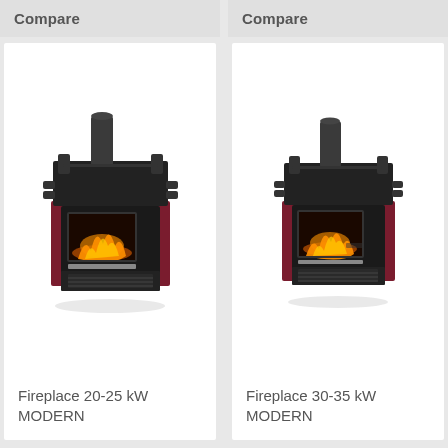Compare
[Figure (illustration): Fireplace 20-25 kW MODERN product image showing a wood-burning fireplace insert with dark metal housing, burgundy/maroon side panels, a glass door showing flames, and flue pipe on top]
Fireplace 20-25 kW
MODERN
Compare
[Figure (illustration): Fireplace 30-35 kW MODERN product image showing a wood-burning fireplace insert similar to the 20-25 kW model with dark metal housing, burgundy/maroon side panels, a glass door showing flames, and flue pipe on top]
Fireplace 30-35 kW
MODERN